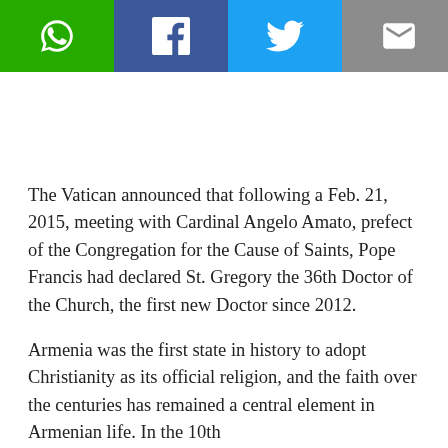[Figure (other): Social share toolbar with WhatsApp (green), Facebook (blue), Twitter (light blue), Email (grey), and Share (dark grey) buttons with white icons]
The Vatican announced that following a Feb. 21, 2015, meeting with Cardinal Angelo Amato, prefect of the Congregation for the Cause of Saints, Pope Francis had declared St. Gregory the 36th Doctor of the Church, the first new Doctor since 2012.
Armenia was the first state in history to adopt Christianity as its official religion, and the faith over the centuries has remained a central element in Armenian life. In the 10th